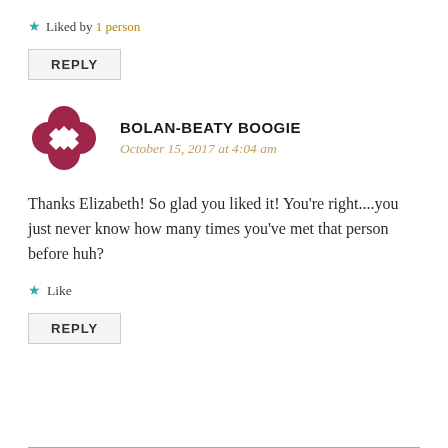★ Liked by 1 person
REPLY
BOLAN-BEATY BOOGIE
October 15, 2017 at 4:04 am
Thanks Elizabeth! So glad you liked it! You're right....you just never know how many times you've met that person before huh?
★ Like
REPLY